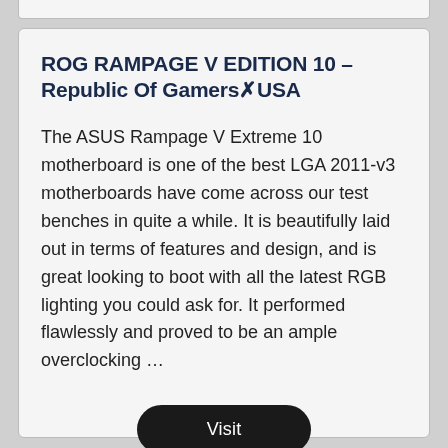ROG RAMPAGE V EDITION 10 – Republic Of Gamers✗USA
The ASUS Rampage V Extreme 10 motherboard is one of the best LGA 2011-v3 motherboards have come across our test benches in quite a while. It is beautifully laid out in terms of features and design, and is great looking to boot with all the latest RGB lighting you could ask for. It performed flawlessly and proved to be an ample overclocking …
Visit